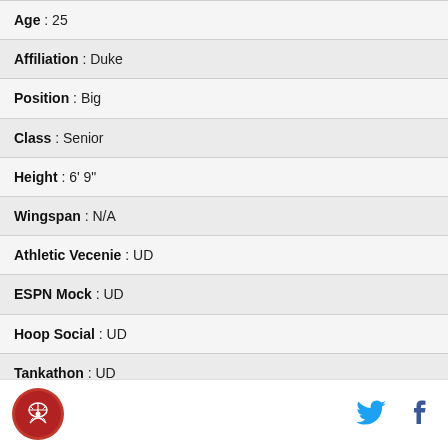| Age : 25 |
| Affiliation : Duke |
| Position : Big |
| Class : Senior |
| Height : 6' 9" |
| Wingspan : N/A |
| Athletic Vecenie : UD |
| ESPN Mock : UD |
| Hoop Social : UD |
| Tankathon : UD |
| No Ceilings : UD |
| Bleacher Report : UD |
Logo | Twitter | Facebook